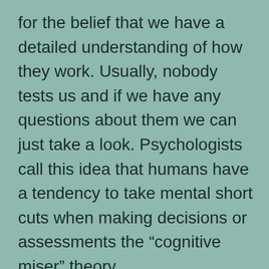for the belief that we have a detailed understanding of how they work. Usually, nobody tests us and if we have any questions about them we can just take a look. Psychologists call this idea that humans have a tendency to take mental short cuts when making decisions or assessments the “cognitive miser” theory.

Why would we bother expending the effort to really understand things when we can get by without doing so? The interesting thing is that we manage to hide from ourselves exactly how shallow our understanding is.